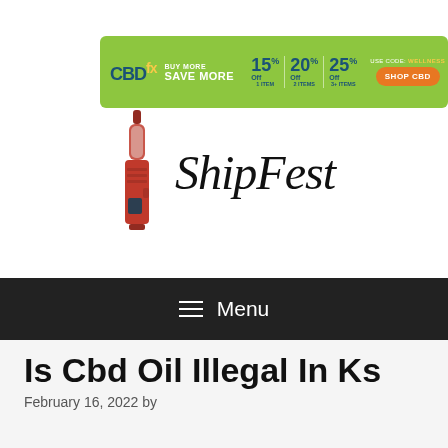[Figure (infographic): CBDfx advertisement banner: BUY MORE SAVE MORE with 15% off 1 item, 20% off 2 items, 25% off 3+ items. Use code WELLNESS. Shop CBD button.]
[Figure (logo): ShipFest logo with red vape device icon and handwritten-style brand name]
≡ Menu
Is Cbd Oil Illegal In Ks
February 16, 2022 by